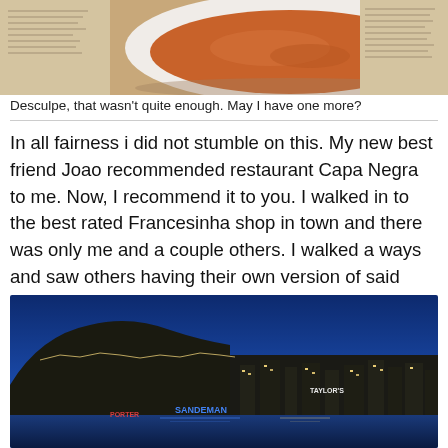[Figure (photo): Close-up photo of a bowl of soup or stew with a newspaper visible in the background, top portion of page]
Desculpe, that wasn't quite enough. May I have one more?
In all fairness i did not stumble on this. My new best friend Joao recommended restaurant Capa Negra to me. Now, I recommend it to you. I walked in to the best rated Francesinha shop in town and there was only me and a couple others. I walked a ways and saw others having their own version of said sandwich and just smiled, knowing they were having the 58 version of a jucy lucy.
[Figure (photo): Night cityscape of Porto, Portugal with illuminated buildings along the waterfront, showing SANDEMAN and TAYLOR'S signs lit up against a deep blue twilight sky]